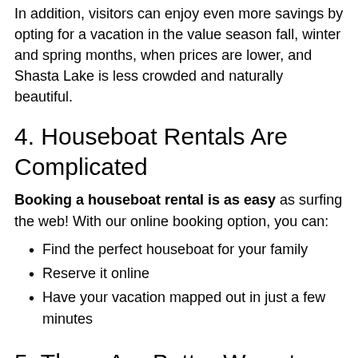In addition, visitors can enjoy even more savings by opting for a vacation in the value season fall, winter and spring months, when prices are lower, and Shasta Lake is less crowded and naturally beautiful.
4.  Houseboat Rentals Are Complicated
Booking a houseboat rental is as easy as surfing the web! With our online booking option, you can:
Find the perfect houseboat for your family
Reserve it online
Have your vacation mapped out in just a few minutes
5.  There Are Better Ways to Explore Shasta Lake